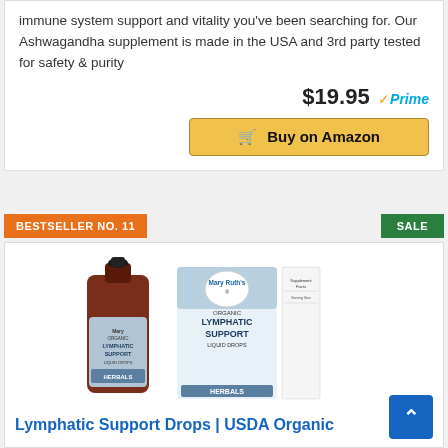immune system support and vitality you've been searching for. Our Ashwagandha supplement is made in the USA and 3rd party tested for safety & purity
$19.95 Prime
Buy on Amazon
BESTSELLER NO. 11
SALE
[Figure (photo): MaryRuth's Organic Lymphatic Support Liquid Drops product photo showing dropper bottle and packaging box labeled HERBALS]
Lymphatic Support Drops | USDA Organic